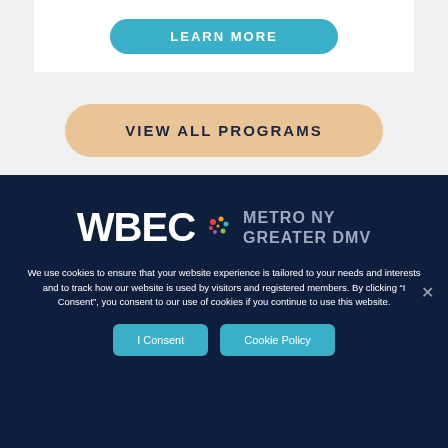[Figure (screenshot): Learn More button — teal rounded rectangle with white uppercase text 'LEARN MORE' on white card background]
[Figure (screenshot): 'VIEW ALL PROGRAMS' button — tan/golden rounded pill shape with dark navy bold uppercase text on light gray background]
[Figure (logo): WBEC Metro NY Greater DMV logo — white 'WBEC' bold text, colorful dot cluster icon, gray 'METRO NY GREATER DMV' text on dark navy background]
We use cookies to ensure that your website experience is tailored to your needs and interests and to track how our website is used by visitors and registered members. By clicking “I Consent”, you consent to our use of cookies if you continue to use this website.
I Consent   Cookie Policy